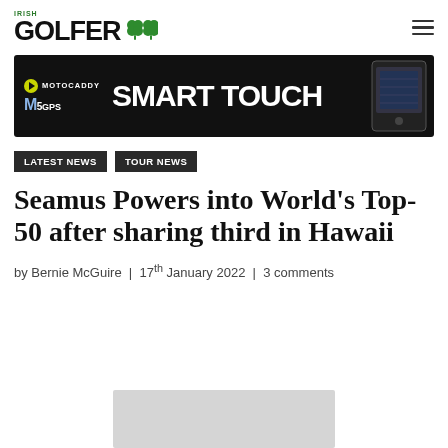Irish Golfer
[Figure (other): Motocaddy M5gps Smart Touch advertisement banner — black background with white bold text reading SMART TOUCH, Motocaddy logo, M5gps text, and a device image on the right]
LATEST NEWS
TOUR NEWS
Seamus Powers into World’s Top-50 after sharing third in Hawaii
by Bernie McGuire  |  17th January 2022  |  3 comments
[Figure (photo): Partially visible image placeholder at the bottom of the page]